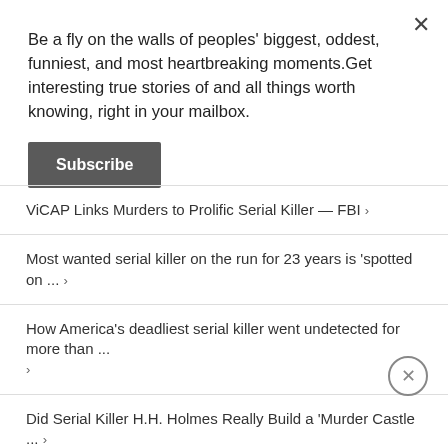Be a fly on the walls of peoples' biggest, oddest, funniest, and most heartbreaking moments.Get interesting true stories of and all things worth knowing, right in your mailbox.
Subscribe
ViCAP Links Murders to Prolific Serial Killer — FBI ›
Most wanted serial killer on the run for 23 years is 'spotted on ... ›
How America's deadliest serial killer went undetected for more than ... ›
Did Serial Killer H.H. Holmes Really Build a 'Murder Castle ... ›
5 Myths about Serial Killers and Why They Persist [Excerpt ... ›
57 People Share Their Horrifying Real-Life Encounters With Famous ... ›
How notorious serial killer Ted Bundy was able to escape from ... ›